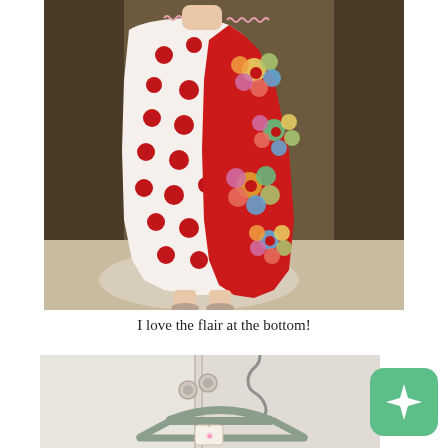[Figure (photo): A young child wearing a dress with two contrasting fabric panels: left side white with large red polka dots, right side bright red with colorful floral applique pattern. The dress has a flared hemline. The child is standing in front of a wooden cabinet/wardrobe.]
I love the flair at the bottom!
[Figure (photo): A decorative wooden clothes hanger in sage/teal color with a metal hook, hanging against a white paneled background. A small tag or ornament is attached to the hanger.]